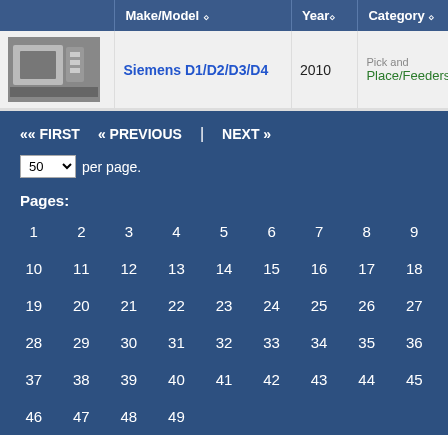|  | Make/Model | Year | Category | S... |
| --- | --- | --- | --- | --- |
| [image] | Siemens D1/D2/D3/D4 | 2010 | Pick and Place/Feeders | C... |
«« FIRST  « PREVIOUS  |  NEXT »  50 per page.
Pages:
1  2  3  4  5  6  7  8  9  10  11  12  13  14  15  16  17  18  19  20  21  22  23  24  25  26  27  28  29  30  31  32  33  34  35  36  37  38  39  40  41  42  43  44  45  46  47  48  49